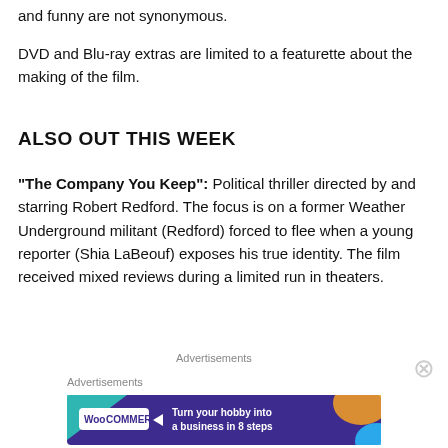and funny are not synonymous.
DVD and Blu-ray extras are limited to a featurette about the making of the film.
ALSO OUT THIS WEEK
“The Company You Keep”: Political thriller directed by and starring Robert Redford. The focus is on a former Weather Underground militant (Redford) forced to flee when a young reporter (Shia LaBeouf) exposes his true identity. The film received mixed reviews during a limited run in theaters.
Advertisements
Advertisements
[Figure (other): WooCommerce advertisement banner: 'Turn your hobby into a business in 8 steps' on dark purple background with colorful geometric shapes]